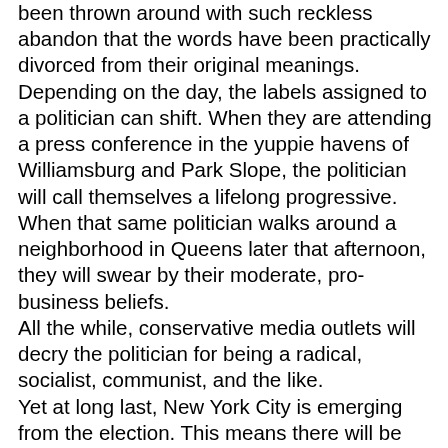been thrown around with such reckless abandon that the words have been practically divorced from their original meanings. Depending on the day, the labels assigned to a politician can shift. When they are attending a press conference in the yuppie havens of Williamsburg and Park Slope, the politician will call themselves a lifelong progressive. When that same politician walks around a neighborhood in Queens later that afternoon, they will swear by their moderate, pro-business beliefs. All the while, conservative media outlets will decry the politician for being a radical, socialist, communist, and the like. Yet at long last, New York City is emerging from the election. This means there will be less press conferences, less photo ops, and — hopefully — less labelling. This will not only benefit New Yorkers who are undoubtedly tired of the same old name calling, but also politicians who